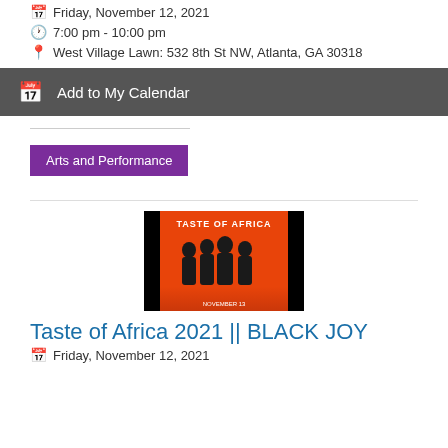Friday, November 12, 2021
7:00 pm - 10:00 pm
West Village Lawn: 532 8th St NW, Atlanta, GA 30318
Add to My Calendar
Arts and Performance
[Figure (photo): Promotional image for Taste of Africa 2021 event. Orange/red background with silhouettes of people and text 'TASTE OF AFRICA' at top, with black borders on sides.]
Taste of Africa 2021 || BLACK JOY
Friday, November 12, 2021